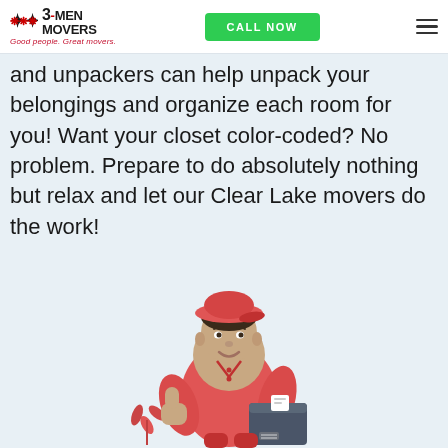3-MEN MOVERS — Good people. Great movers. | CALL NOW
and unpackers can help unpack your belongings and organize each room for you! Want your closet color-coded? No problem. Prepare to do absolutely nothing but relax and let our Clear Lake movers do the work!
[Figure (illustration): Illustration of a mover in a red uniform and red cap, smiling and giving a thumbs up while holding a moving box under his arm. A red plant is visible in the lower left background.]